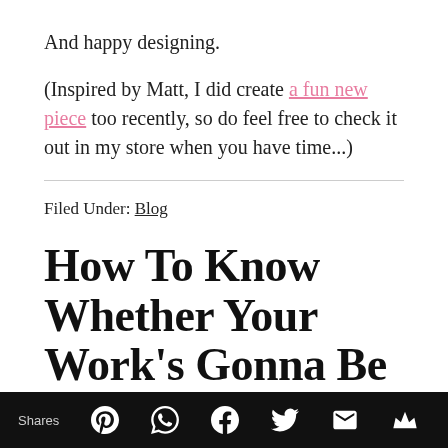And happy designing.
(Inspired by Matt, I did create a fun new piece too recently, so do feel free to check it out in my store when you have time...)
Filed Under: Blog
How To Know Whether Your Work's Gonna Be A